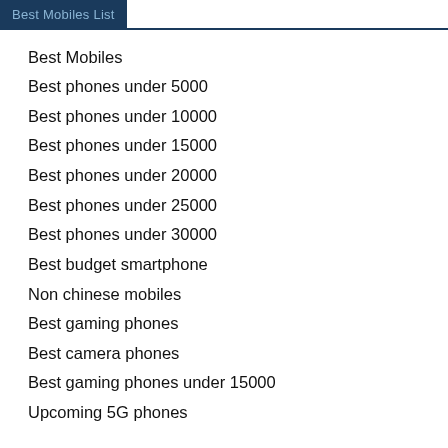Best Mobiles List
Best Mobiles
Best phones under 5000
Best phones under 10000
Best phones under 15000
Best phones under 20000
Best phones under 25000
Best phones under 30000
Best budget smartphone
Non chinese mobiles
Best gaming phones
Best camera phones
Best gaming phones under 15000
Upcoming 5G phones